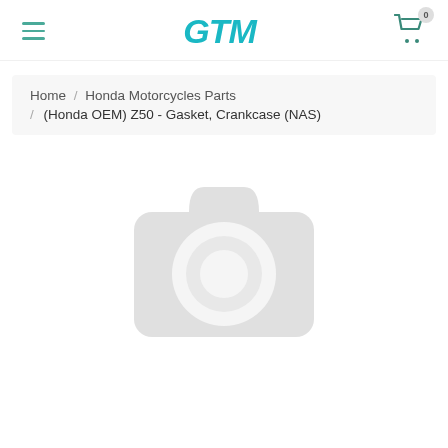GTM — navigation header with hamburger menu, GTM logo, and cart icon with badge 0
Home / Honda Motorcycles Parts / (Honda OEM) Z50 - Gasket, Crankcase (NAS)
[Figure (other): Placeholder camera icon indicating no product image is available — light grey camera silhouette on white background]